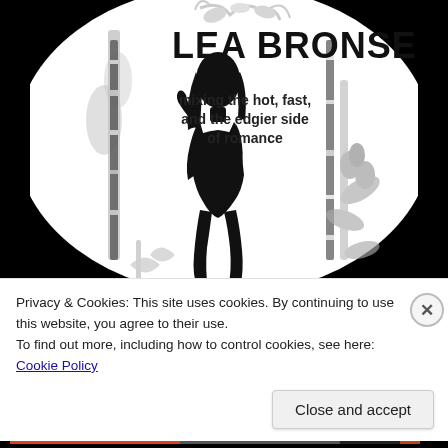[Figure (illustration): Circular banner image on black background showing silhouette of a woman in a short dress, with decorative floral/vine elements in gray. Author name 'LEA BRONSEN' in large bold distressed font at top, tagline 'mixing the hot, fast, and the edgier side of romance' in bold text below.]
Privacy & Cookies: This site uses cookies. By continuing to use this website, you agree to their use.
To find out more, including how to control cookies, see here: Cookie Policy
Close and accept